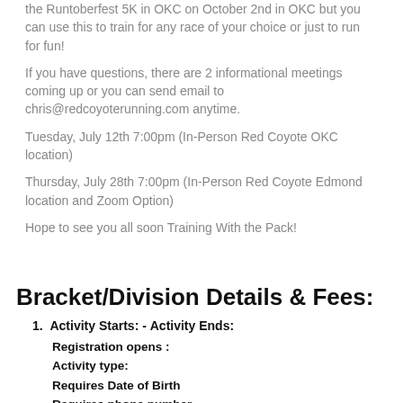the Runtoberfest 5K in OKC on October 2nd in OKC but you can use this to train for any race of your choice or just to run for fun!
If you have questions, there are 2 informational meetings coming up or you can send email to chris@redcoyoterunning.com anytime.
Tuesday, July 12th 7:00pm (In-Person Red Coyote OKC location)
Thursday, July 28th 7:00pm (In-Person Red Coyote Edmond location and Zoom Option)
Hope to see you all soon Training With the Pack!
Bracket/Division Details & Fees:
Activity Starts: - Activity Ends:
Registration opens :
Activity type:
Requires Date of Birth
Requires phone number
Registration Periods:
Registration opens : 6/1/2022 01:00
Registration closes : 8/16/2022 23:59